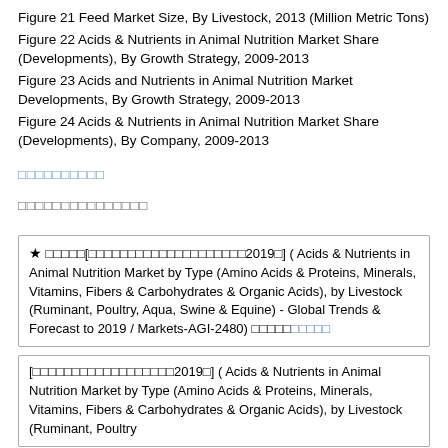Figure 21 Feed Market Size, By Livestock, 2013 (Million Metric Tons)
Figure 22 Acids & Nutrients in Animal Nutrition Market Share (Developments), By Growth Strategy, 2009-2013
Figure 23 Acids and Nutrients in Animal Nutrition Market Developments, By Growth Strategy, 2009-2013
Figure 24 Acids & Nutrients in Animal Nutrition Market Share (Developments), By Company, 2009-2013
□□□□□□□□□□
□□□□□□□□□□□□□□□
★ □□□□□[□□□□□□□□□□□□□□□□□□□□2019□] ( Acids & Nutrients in Animal Nutrition Market by Type (Amino Acids & Proteins, Minerals, Vitamins, Fibers & Carbohydrates & Organic Acids), by Livestock (Ruminant, Poultry, Aqua, Swine & Equine) - Global Trends & Forecast to 2019 / Markets-AGI-2480) □□□□□□□□□□
[□□□□□□□□□□□□□□□□□□2019□] ( Acids & Nutrients in Animal Nutrition Market by Type (Amino Acids & Proteins, Minerals, Vitamins, Fibers & Carbohydrates & Organic Acids), by Livestock (Ruminant, Poultry